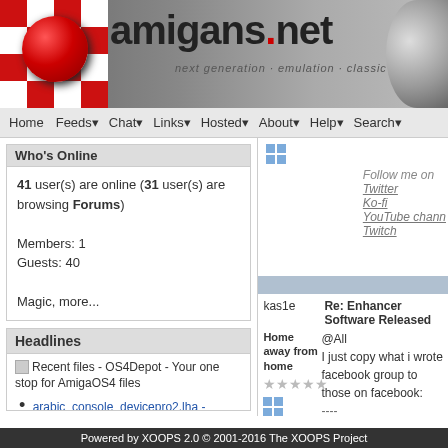[Figure (screenshot): amigans.net website header banner with red and white checker pattern, red ball logo, site name 'amigans.net' with red dot, tagline 'next generation · emulation · classic']
Home  Feeds  Chat  Links  Hosted  About  Help  Search
Who's Online
41 user(s) are online (31 user(s) are browsing Forums)

Members: 1
Guests: 40

Magic, more...
Headlines
Recent files - OS4Depot - Your one stop for AmigaOS4 files
arabic_console_devicepro2.lha - driver/input
Aug 23, 2022
mednafen.lha - emulation/gamesystem
Aug 23, 2022
kas1e
Re: Enhancer Software Released
Home away from home
@All
I just copy what i wrote facebook group to those on facebook:

----
For all amigaos4 lovers important news after the
Follow me on Twitter Ko-fi YouTube chann Twitch
Powered by XOOPS 2.0 © 2001-2016 The XOOPS Project